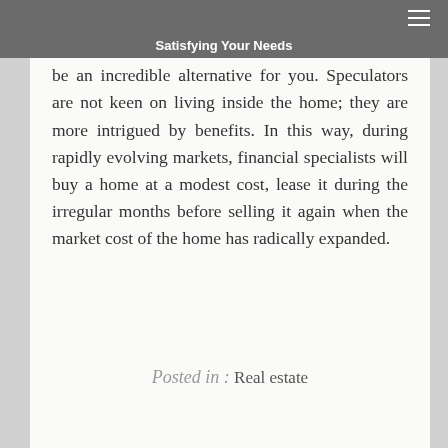Satisfying Your Needs
property holder that has a house that is in awful deterioration, selling my home to a speculator can be an incredible alternative for you. Speculators are not keen on living inside the home; they are more intrigued by benefits. In this way, during rapidly evolving markets, financial specialists will buy a home at a modest cost, lease it during the irregular months before selling it again when the market cost of the home has radically expanded.
Posted in : Real estate